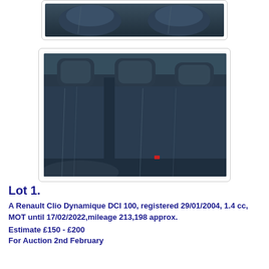[Figure (photo): Partial view of car interior showing front seats from behind, dark blue/grey upholstery]
[Figure (photo): Car interior rear seats view showing dark blue/grey leather upholstery with three headrests, a red seat belt buckle visible]
Lot 1.
A Renault Clio Dynamique DCI 100, registered 29/01/2004, 1.4 cc, MOT until 17/02/2022,mileage 213,198 approx.
Estimate £150 - £200
For Auction 2nd February